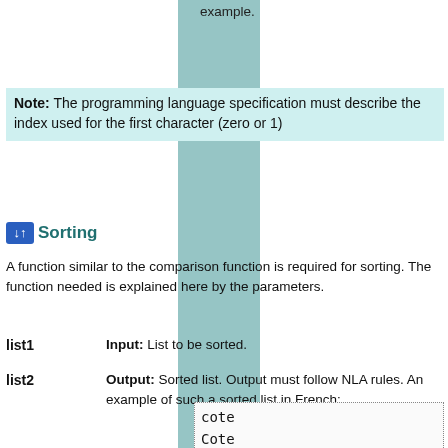example.
Note: The programming language specification must describe the index used for the first character (zero or 1)
Sorting
A function similar to the comparison function is required for sorting. The function needed is explained here by the parameters.
list1 — Input: List to be sorted.
list2 — Output: Sorted list. Output must follow NLA rules. An example of such a sorted list in French:
cote
Cote
COTE
côte